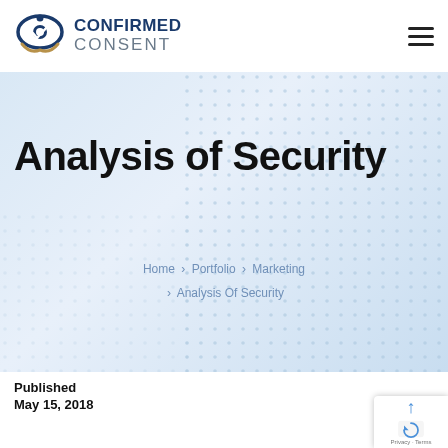[Figure (logo): Confirmed Consent logo: circular icon with eye and check mark in blue and tan, next to text CONFIRMED CONSENT]
CONFIRMED CONSENT
Analysis of Security
Home > Portfolio > Marketing > Analysis Of Security
Published
May 15, 2018